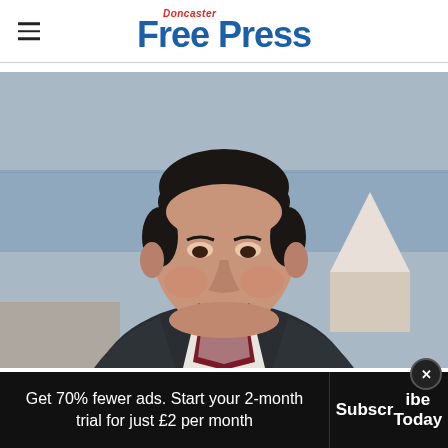Doncaster Free Press
[Figure (photo): Portrait photo of an older man with dark hair, smiling, wearing a dark tweed blazer and burgundy cardigan with white shirt, standing outdoors near the sea with a blurred coastal background.]
Get 70% fewer ads. Start your 2-month trial for just £2 per month
Subscribe Today